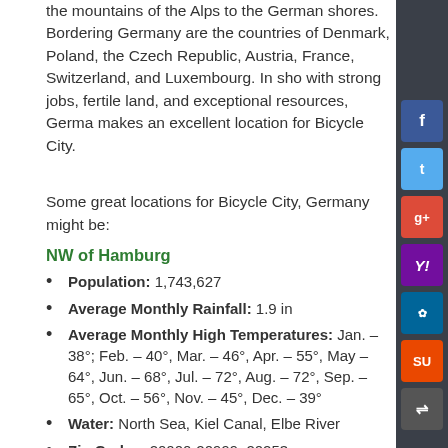the mountains of the Alps to the German shores. Bordering Germany are the countries of Denmark, Poland, the Czech Republic, Austria, France, Switzerland, and Luxembourg. In short, with strong jobs, fertile land, and exceptional resources, Germany makes an excellent location for Bicycle City.
Some great locations for Bicycle City, Germany might be:
NW of Hamburg
Population: 1,743,627
Average Monthly Rainfall: 1.9 in
Average Monthly High Temperatures: Jan. – 38°; Feb. – 40°, Mar. – 46°, Apr. – 55°, May – 64°, Jun. – 68°, Jul. – 72°, Aug. – 72°, Sep. – 65°, Oct. – 56°, Nov. – 45°, Dec. – 39°
Water: North Sea, Kiel Canal, Elbe River
Zip Codes: 20000-20999, 20253
West of Bremen
Population: 546,852
Average Monthly Rainfall: 1.7 in